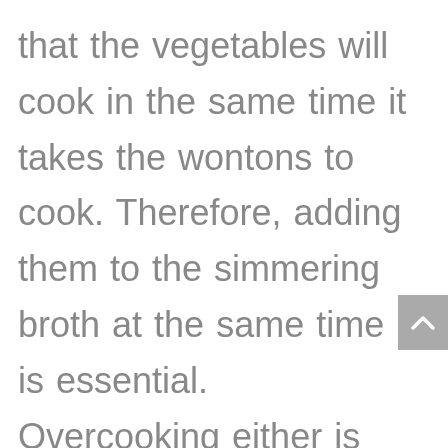that the vegetables will cook in the same time it takes the wontons to cook. Therefore, adding them to the simmering broth at the same time is essential. Overcooking either is undesirable, to say the least. The same can be said for the shrimp and pork too. The shrimp will cook in no more than 2